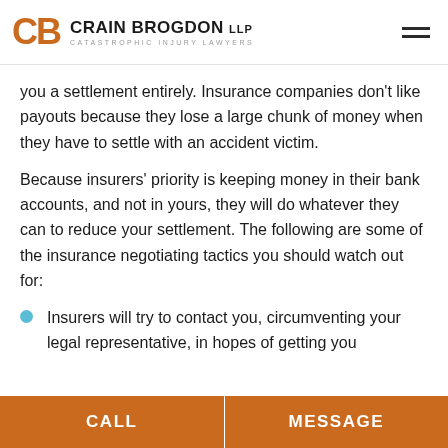CRAIN BROGDON LLP — CATASTROPHIC INJURY LAWYERS
you a settlement entirely. Insurance companies don't like payouts because they lose a large chunk of money when they have to settle with an accident victim.
Because insurers' priority is keeping money in their bank accounts, and not in yours, they will do whatever they can to reduce your settlement. The following are some of the insurance negotiating tactics you should watch out for:
Insurers will try to contact you, circumventing your legal representative, in hopes of getting you
CALL | MESSAGE